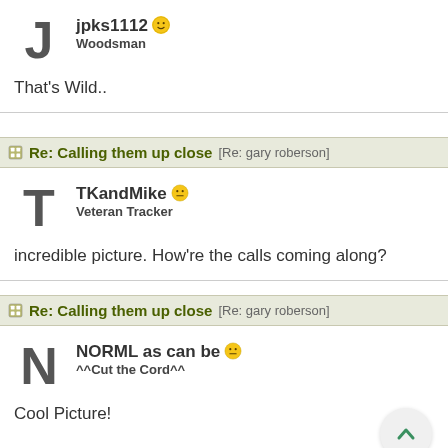jpks1112 [smiley emoji]
Woodsman

That's Wild..
Re: Calling them up close [Re: gary roberson]
TKandMike [neutral emoji]
Veteran Tracker

incredible picture. How're the calls coming along?
Re: Calling them up close [Re: gary roberson]
NORML as can be [neutral emoji]
^^Cut the Cord^^

Cool Picture!